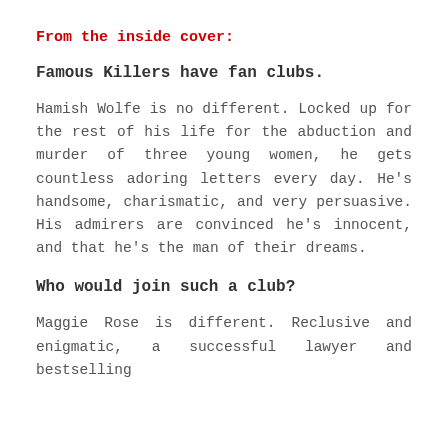From the inside cover:
Famous Killers have fan clubs.
Hamish Wolfe is no different. Locked up for the rest of his life for the abduction and murder of three young women, he gets countless adoring letters every day. He’s handsome, charismatic, and very persuasive. His admirers are convinced he’s innocent, and that he’s the man of their dreams.
Who would join such a club?
Maggie Rose is different. Reclusive and enigmatic, a successful lawyer and bestselling